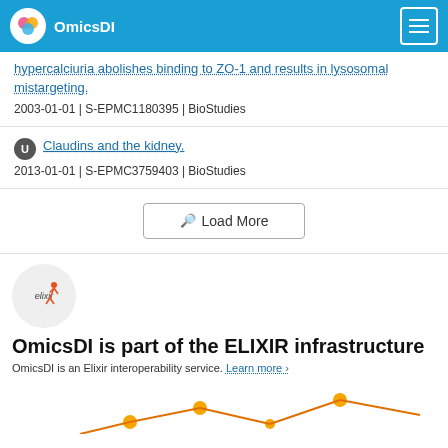OmicsDI
hypercalciuria abolishes binding to ZO-1 and results in lysosomal mistargeting.
2003-01-01 | S-EPMC1180395 | BioStudies
Claudins and the kidney.
2013-01-01 | S-EPMC3759403 | BioStudies
Load More
[Figure (logo): ELIXIR logo — circular grey background with 'elixir' text and a stylized figure]
OmicsDI is part of the ELIXIR infrastructure
OmicsDI is an Elixir interoperability service. Learn more ›
[Figure (logo): Partial OmicsDI/network graphic at bottom of page — orange dots and lines on white background]